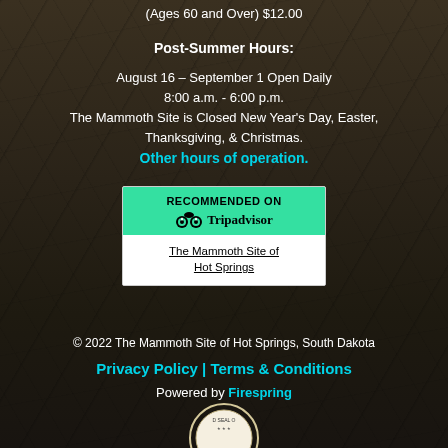(Ages 60 and Over) $12.00
Post-Summer Hours:
August 16 – September 1 Open Daily
8:00 a.m. - 6:00 p.m.
The Mammoth Site is Closed New Year's Day, Easter, Thanksgiving, & Christmas.
Other hours of operation.
[Figure (logo): TripAdvisor 'Recommended On' badge with green header, owl logo, and white section with link to The Mammoth Site of Hot Springs]
© 2022 The Mammoth Site of Hot Springs, South Dakota
Privacy Policy  |  Terms & Conditions
Powered by Firespring
[Figure (logo): Partial seal/badge at bottom of page, partially cropped]